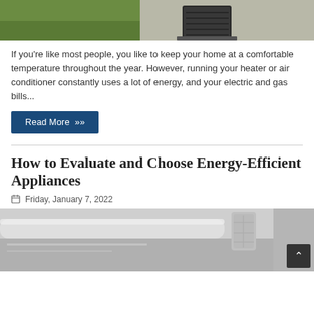[Figure (photo): Outdoor air conditioning unit on gravel next to green grass lawn]
If you're like most people, you like to keep your home at a comfortable temperature throughout the year. However, running your heater or air conditioner constantly uses a lot of energy, and your electric and gas bills...
Read More »
How to Evaluate and Choose Energy-Efficient Appliances
Friday, January 7, 2022
[Figure (photo): Close-up of stainless steel stove knobs and oven controls]